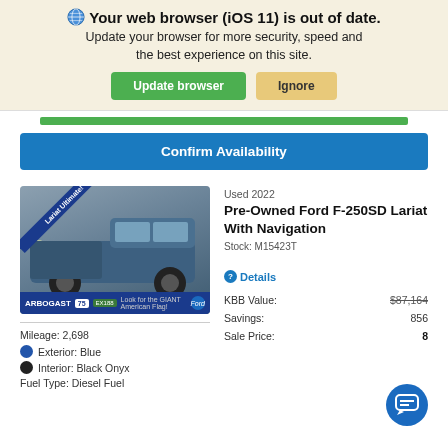🌐 Your web browser (iOS 11) is out of date. Update your browser for more security, speed and the best experience on this site.
Update browser | Ignore
[Figure (screenshot): Green progress/loading bar]
Confirm Availability
[Figure (photo): Used 2022 Ford F-250SD Lariat truck in blue, with Lariat Ultimate ribbon badge, dealer branding at bottom]
Mileage: 2,698
Exterior: Blue
Interior: Black Onyx
Fuel Type: Diesel Fuel
Used 2022
Pre-Owned Ford F-250SD Lariat With Navigation
Stock: M15423T
❓Details
|  |  |
| --- | --- |
| KBB Value: | $87,164 |
| Savings: | 856 |
| Sale Price: | 8 |